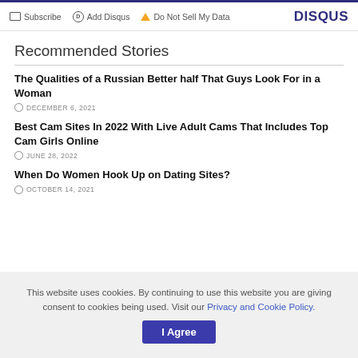Subscribe | Add Disqus | Do Not Sell My Data | DISQUS
Recommended Stories
The Qualities of a Russian Better half That Guys Look For in a Woman
DECEMBER 6, 2021
Best Cam Sites In 2022 With Live Adult Cams That Includes Top Cam Girls Online
JUNE 28, 2022
When Do Women Hook Up on Dating Sites?
OCTOBER 14, 2021
This website uses cookies. By continuing to use this website you are giving consent to cookies being used. Visit our Privacy and Cookie Policy.